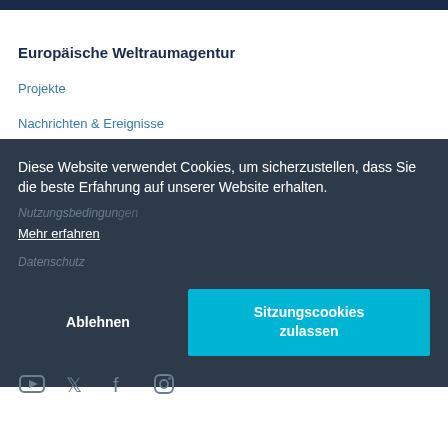Europäische Weltraumagentur
Projekte
Nachrichten & Ereignisse
Ansprechpartner
Diese Website verwendet Cookies, um sicherzustellen, dass Sie die beste Erfahrung auf unserer Website erhalten.
Mehr erfahren
Nutzungsbedingungen
Datenschutz
Ablehnen
Sitzungscookies zulassen